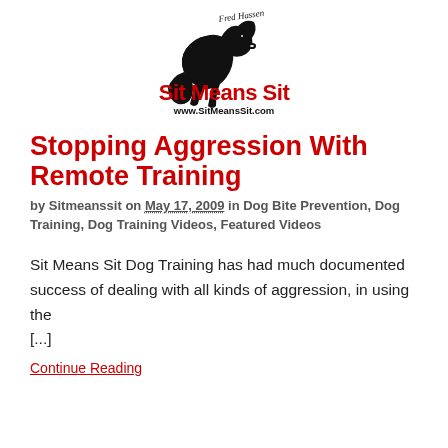[Figure (logo): Sit Means Sit dog training logo with a sitting dog silhouette in black ink style with signature, bold red text 'Sit Means Sit' and website www.SitMeansSit.com]
Stopping Aggression With Remote Training
by Sitmeanssit on May 17, 2009 in Dog Bite Prevention, Dog Training, Dog Training Videos, Featured Videos
Sit Means Sit Dog Training has had much documented success of dealing with all kinds of aggression, in using the [...]
Continue Reading